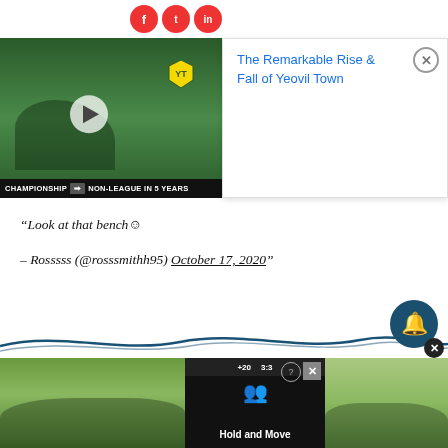[Figure (screenshot): Video thumbnail showing a footballer in green kit lying on grass with text overlay 'Championship → Non-League in 5 Years' and a play button]
[Figure (screenshot): Popup card with text 'The Remarkable Rise & Fall of Yeovil Town' in blue with a close X button]
“Look at that bench☺

– Rosssss (@rosssmithh95) October 17, 2020”
[Figure (screenshot): Bottom advertisement area with Hold and Move game ad and notification bell button with close X]